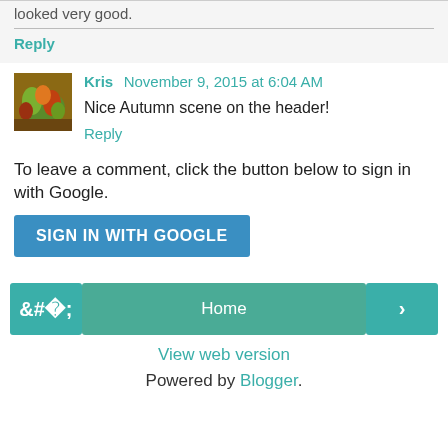looked very good.
Reply
Kris November 9, 2015 at 6:04 AM
Nice Autumn scene on the header!
Reply
To leave a comment, click the button below to sign in with Google.
SIGN IN WITH GOOGLE
Home
View web version
Powered by Blogger.